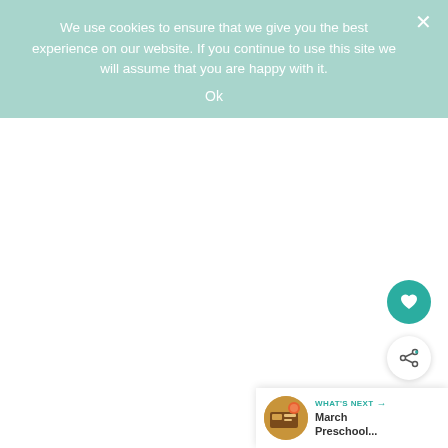We use cookies to ensure that we give you the best experience on our website. If you continue to use this site we will assume that you are happy with it.
Ok
[Figure (screenshot): White content area, mostly blank]
[Figure (other): Heart/favorite button (teal circle with heart icon)]
[Figure (other): Share button (white circle with share icon)]
WHAT'S NEXT → March Preschool...